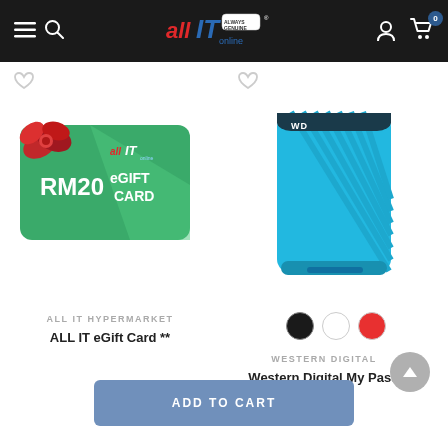All IT Online – navigation header with menu, search, logo, account, and cart (0 items)
[Figure (photo): ALL IT eGift Card RM20 – green card with red bow and All IT Online logo]
[Figure (photo): Western Digital My Passport portable hard drive in blue color]
ALL IT HYPERMARKET
ALL IT eGift Card **
WESTERN DIGITAL
Western Digital My Passport
ADD TO CART